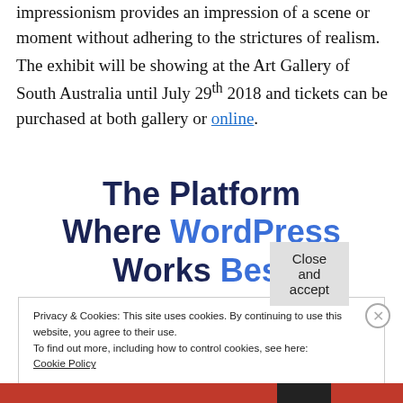impressionism provides an impression of a scene or moment without adhering to the strictures of realism. The exhibit will be showing at the Art Gallery of South Australia until July 29th 2018 and tickets can be purchased at both gallery or online.
The Platform Where WordPress Works Best
Privacy & Cookies: This site uses cookies. By continuing to use this website, you agree to their use.
To find out more, including how to control cookies, see here:
Cookie Policy
Close and accept